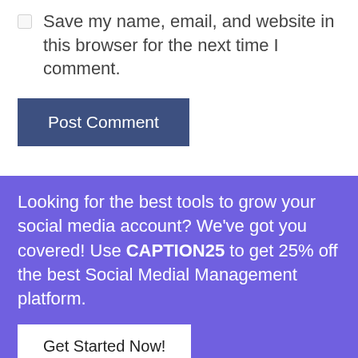Save my name, email, and website in this browser for the next time I comment.
Post Comment
Looking for the best tools to grow your social media account? We've got you covered! Use CAPTION25 to get 25% off the best Social Medial Management platform.
Get Started Now!